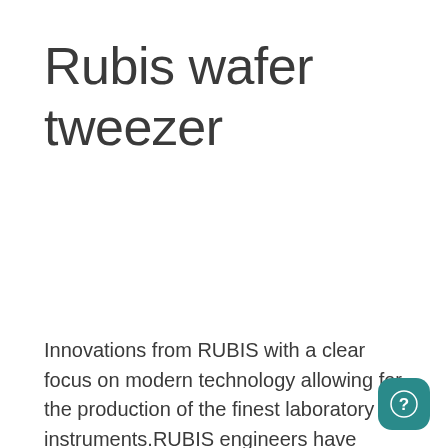Rubis wafer tweezer
Innovations from RUBIS with a clear focus on modern technology allowing for the production of the finest laboratory instruments.RUBIS engineers have harmonize ultra-modern technology and traditional Swiss precision engineering resulting in ground-breaking precision instruments to meet new and exacting demands.Style: Rubis Wafer tweezersMade from SA steel with serrated handles. These tweezers are specially designed to handle different fragile and delicate materials like gallium or silicon wafers. They have a smooth polished non-glare surface with a satin finish. The